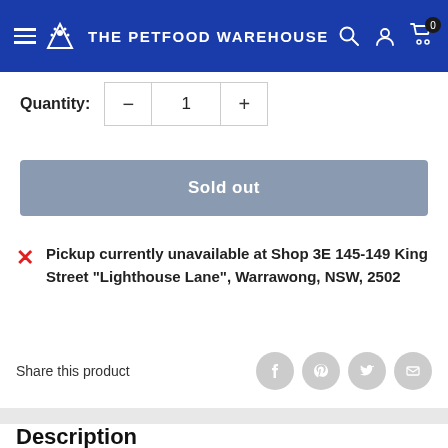THE PETFOOD WAREHOUSE
Quantity: 1
Sold out
Pickup currently unavailable at Shop 3E 145-149 King Street "Lighthouse Lane", Warrawong, NSW, 2502
Share this product
Description
AVI ONE BIRD HAMMOCK CLOSED LARGE.